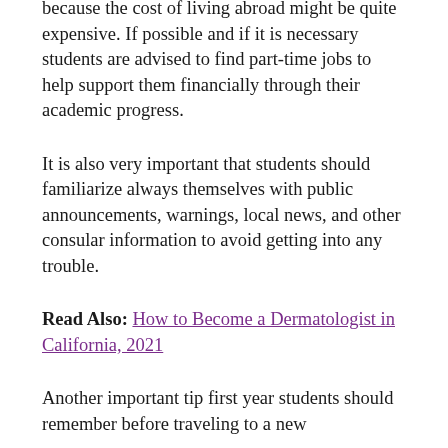because the cost of living abroad might be quite expensive. If possible and if it is necessary students are advised to find part-time jobs to help support them financially through their academic progress.
It is also very important that students should familiarize always themselves with public announcements, warnings, local news, and other consular information to avoid getting into any trouble.
Read Also: How to Become a Dermatologist in California, 2021
Another important tip first year students should remember before traveling to a new